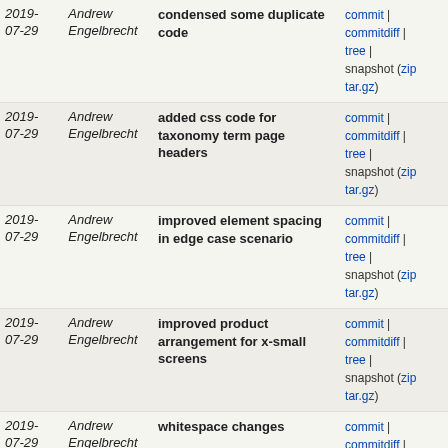| Date | Author | Commit message | Links |
| --- | --- | --- | --- |
| 2019-07-29 | Andrew Engelbrecht | condensed some duplicate code | commit | commitdiff | tree | snapshot (zip tar.gz) |
| 2019-07-29 | Andrew Engelbrecht | added css code for taxonomy term page headers | commit | commitdiff | tree | snapshot (zip tar.gz) |
| 2019-07-29 | Andrew Engelbrecht | improved element spacing in edge case scenario | commit | commitdiff | tree | snapshot (zip tar.gz) |
| 2019-07-29 | Andrew Engelbrecht | improved product arrangement for x-small screens | commit | commitdiff | tree | snapshot (zip tar.gz) |
| 2019-07-29 | Andrew Engelbrecht | whitespace changes | commit | commitdiff | tree | snapshot (zip tar.gz) |
| 2019-07-29 | Andrew Engelbrecht | adjusted display of product thumbnail images | commit | commitdiff | tree | snapshot (zip tar.gz) |
| 2019-07-29 | Andrew Engelbrecht | themed vendors listing page / view | commit | commitdiff | tree | snapshot (zip tar.gz) |
| 2019-07-29 | Andrew Engelbrecht | make imgs appear less warped on product listsings | commit | commitdiff | tree | snapshot (zip tar.gz) |
| 2019-07-29 | Andrew Engelbrecht | generlized shared code between | commit | commitdiff | |